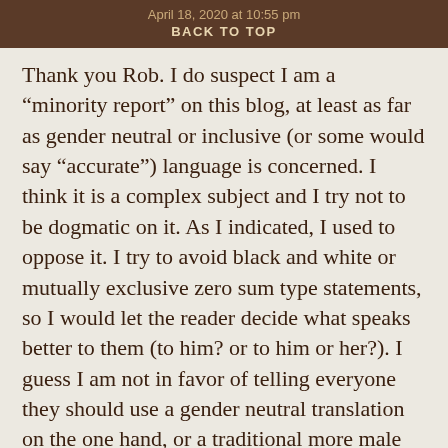April 18, 2020 at 10:55 pm
BACK TO TOP
Thank you Rob. I do suspect I am a “minority report” on this blog, at least as far as gender neutral or inclusive (or some would say “accurate”) language is concerned. I think it is a complex subject and I try not to be dogmatic on it. As I indicated, I used to oppose it. I try to avoid black and white or mutually exclusive zero sum type statements, so I would let the reader decide what speaks better to them (to him? or to him or her?). I guess I am not in favor of telling everyone they should use a gender neutral translation on the one hand, or a traditional more male focused translation on the other hand. I just don’t think we should question the other side’s motives or orthodoxy. I am an educated person but a layman in theology, not trained in Hebrew or Greek, but